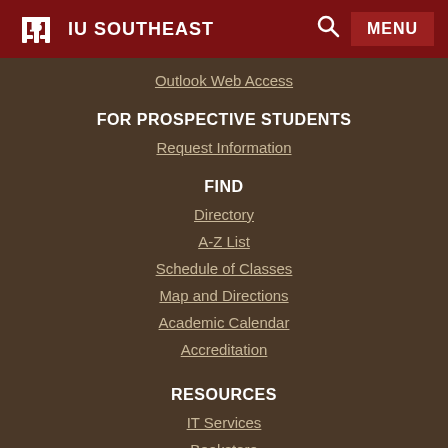IU SOUTHEAST
Outlook Web Access
FOR PROSPECTIVE STUDENTS
Request Information
FIND
Directory
A-Z List
Schedule of Classes
Map and Directions
Academic Calendar
Accreditation
RESOURCES
IT Services
Bookstore